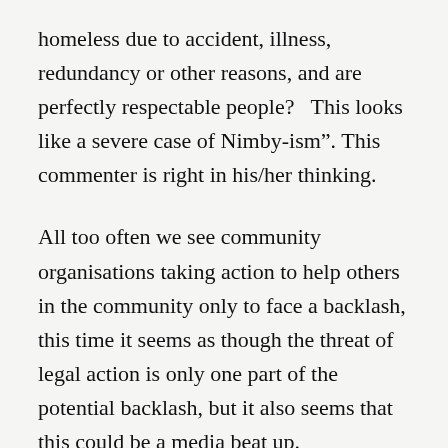homeless due to accident, illness, redundancy or other reasons, and are perfectly respectable people?   This looks like a severe case of Nimby-ism”. This commenter is right in his/her thinking.
All too often we see community organisations taking action to help others in the community only to face a backlash, this time it seems as though the threat of legal action is only one part of the potential backlash, but it also seems that this could be a media beat up.